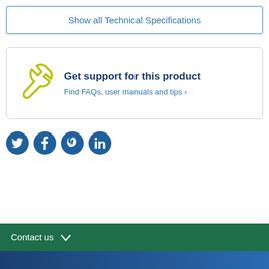Show all Technical Specifications
[Figure (infographic): Support box with wrench icon, title 'Get support for this product', and link 'Find FAQs, user manuals and tips ›']
Get support for this product
Find FAQs, user manuals and tips ›
[Figure (illustration): Social media icons: Twitter, Facebook, Pinterest, LinkedIn — circular blue buttons]
Contact us ∨